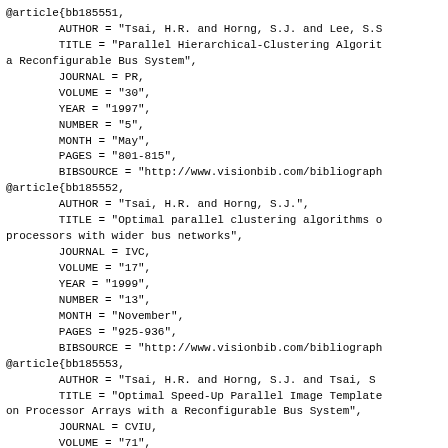@article{bb185551,
        AUTHOR = "Tsai, H.R. and Horng, S.J. and Lee, S.S",
        TITLE = "Parallel Hierarchical-Clustering Algorithms on a Reconfigurable Bus System",
        JOURNAL = PR,
        VOLUME = "30",
        YEAR = "1997",
        NUMBER = "5",
        MONTH = "May",
        PAGES = "801-815",
        BIBSOURCE = "http://www.visionbib.com/bibliograph
@article{bb185552,
        AUTHOR = "Tsai, H.R. and Horng, S.J.",
        TITLE = "Optimal parallel clustering algorithms on processors with wider bus networks",
        JOURNAL = IVC,
        VOLUME = "17",
        YEAR = "1999",
        NUMBER = "13",
        MONTH = "November",
        PAGES = "925-936",
        BIBSOURCE = "http://www.visionbib.com/bibliograph
@article{bb185553,
        AUTHOR = "Tsai, H.R. and Horng, S.J. and Tsai, S",
        TITLE = "Optimal Speed-Up Parallel Image Templates on Processor Arrays with a Reconfigurable Bus System",
        JOURNAL = CVIU,
        VOLUME = "71",